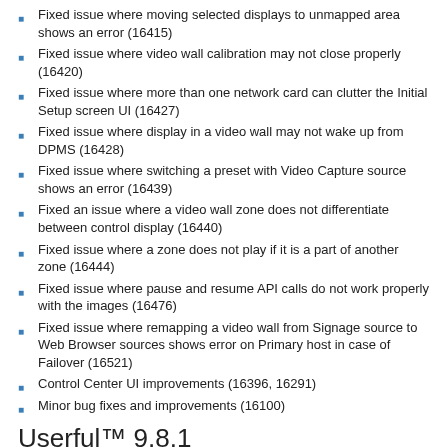Fixed issue where moving selected displays to unmapped area shows an error (16415)
Fixed issue where video wall calibration may not close properly (16420)
Fixed issue where more than one network card can clutter the Initial Setup screen UI (16427)
Fixed issue where display in a video wall may not wake up from DPMS (16428)
Fixed issue where switching a preset with Video Capture source shows an error (16439)
Fixed an issue where a video wall zone does not differentiate between control display (16440)
Fixed issue where a zone does not play if it is a part of another zone (16444)
Fixed issue where pause and resume API calls do not work properly with the images (16476)
Fixed issue where remapping a video wall from Signage source to Web Browser sources shows error on Primary host in case of Failover (16521)
Control Center UI improvements (16396, 16291)
Minor bug fixes and improvements (16100)
Userful™ 9.8.1
Release Date: Mar 02, 2018